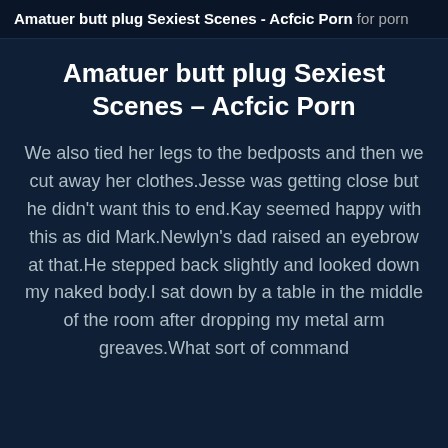Amatuer butt plug Sexiest Scenes - Acfcic Porn for porn
Amatuer butt plug Sexiest Scenes - Acfcic Porn
We also tied her legs to the bedposts and then we cut away her clothes.Jesse was getting close but he didn't want this to end.Kay seemed happy with this as did Mark.Newlyn's dad raised an eyebrow at that.He stepped back slightly and looked down my naked body.I sat down by a table in the middle of the room after dropping my metal arm greaves.What sort of command